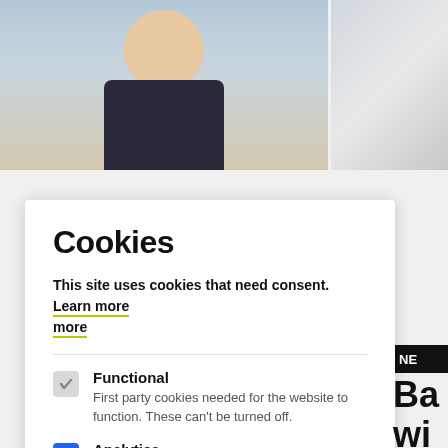[Figure (photo): Photo of a smiling man in a dark blazer and light blue shirt, in an office-like setting; partial office photo on the right side]
Cookies
This site uses cookies that need consent. Learn more
Functional — First party cookies needed for the website to function. These can't be turned off.
Analytics — Used for statistical analysis.
Accept   Ignore